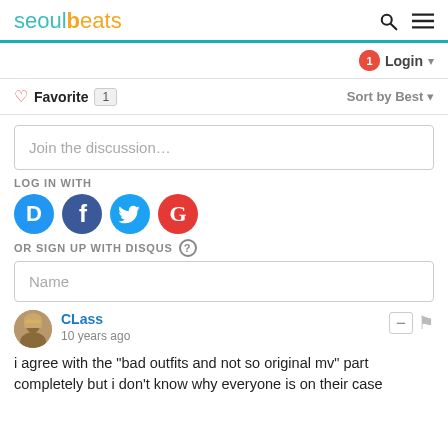seoulbeats
Login
♡ Favorite 1   Sort by Best
Join the discussion...
LOG IN WITH
[Figure (infographic): Social login icons: Disqus (D), Facebook (F), Twitter (bird), Google (G)]
OR SIGN UP WITH DISQUS ?
Name
CLass
10 years ago
i agree with the "bad outfits and not so original mv" part completely but i don't know why everyone is on their case